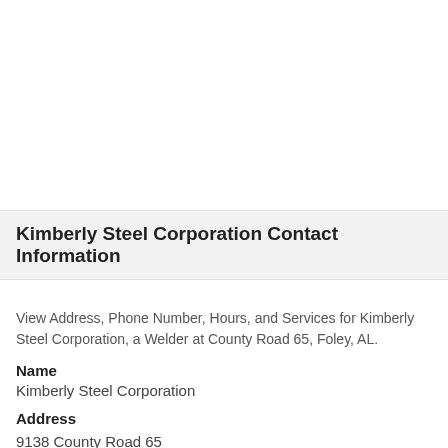Kimberly Steel Corporation Contact Information
View Address, Phone Number, Hours, and Services for Kimberly Steel Corporation, a Welder at County Road 65, Foley, AL.
Name
Kimberly Steel Corporation
Address
9138 County Road 65
Foley, Alabama, 36535
Phone